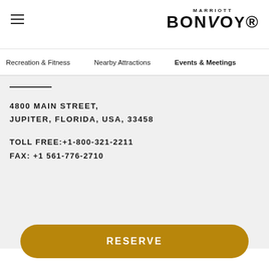[Figure (logo): Marriott Bonvoy logo in top right corner]
Recreation & Fitness   Nearby Attractions   Events & Meetings
4800 MAIN STREET,
JUPITER, FLORIDA, USA, 33458
TOLL FREE: +1-800-321-2211
FAX: +1 561-776-2710
RESERVE